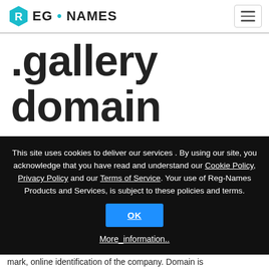[Figure (logo): Reg-Names logo with hexagon icon containing letter R and text REG • NAMES]
.gallery domain names
This site uses cookies to deliver our services . By using our site, you acknowledge that you have read and understand our Cookie Policy, Privacy Policy and our Terms of Service. Your use of Reg-Names Products and Services, is subject to these policies and terms.
OK
More_information..
mark, online identification of the company. Domain is